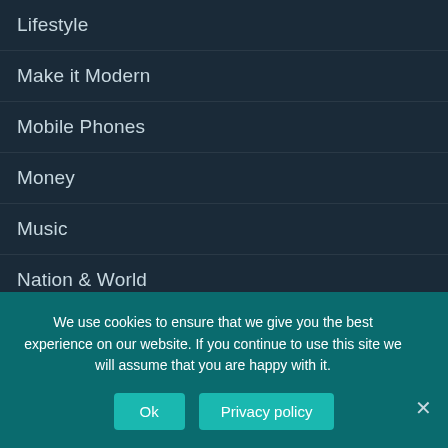Lifestyle
Make it Modern
Mobile Phones
Money
Music
Nation & World
NBC
New Look
Opinion
We use cookies to ensure that we give you the best experience on our website. If you continue to use this site we will assume that you are happy with it.